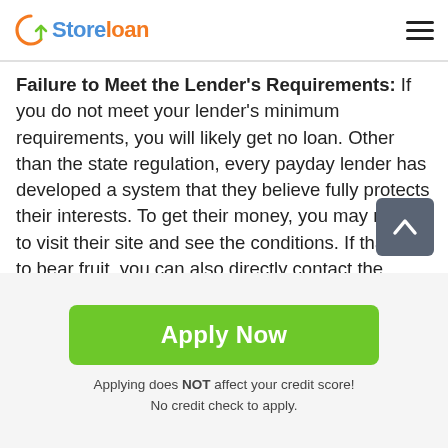Store loan
Failure to Meet the Lender's Requirements: If you do not meet your lender's minimum requirements, you will likely get no loan. Other than the state regulation, every payday lender has developed a system that they believe fully protects their interests. To get their money, you may need to visit their site and see the conditions. If that fails to bear fruit, you can also directly contact the company. Most of them are willing to work with reliable people. If they notice you are such a person, you will likely help you secure the loan within the shortest time possible.

Too Many Payday Requests: People who request payday
Apply Now
Applying does NOT affect your credit score!
No credit check to apply.